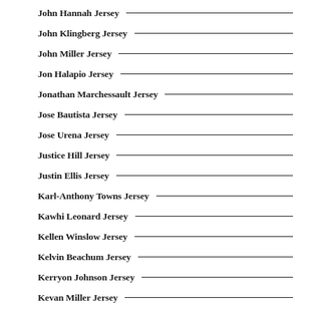John Hannah Jersey
John Klingberg Jersey
John Miller Jersey
Jon Halapio Jersey
Jonathan Marchessault Jersey
Jose Bautista Jersey
Jose Urena Jersey
Justice Hill Jersey
Justin Ellis Jersey
Karl-Anthony Towns Jersey
Kawhi Leonard Jersey
Kellen Winslow Jersey
Kelvin Beachum Jersey
Kerryon Johnson Jersey
Kevan Miller Jersey